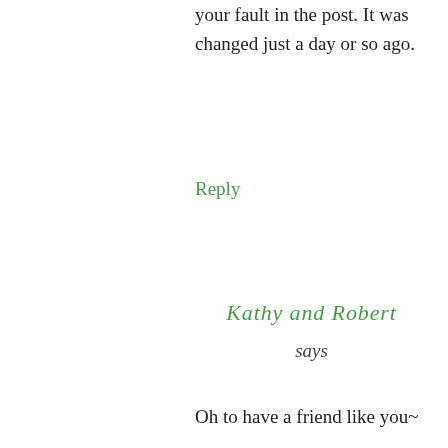your fault in the post. It was changed just a day or so ago.
Reply
Kathy and Robert
says
Oh to have a friend like you~
Believe it or not, I'm learning to play the banjo...it's much harder